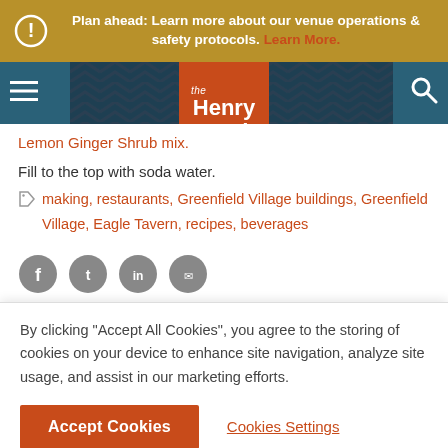Plan ahead: Learn more about our venue operations & safety protocols. Learn More.
[Figure (logo): The Henry Ford museum logo in orange/red square with white text]
Lemon Ginger Shrub mix.
Fill to the top with soda water.
making, restaurants, Greenfield Village buildings, Greenfield Village, Eagle Tavern, recipes, beverages
By clicking "Accept All Cookies", you agree to the storing of cookies on your device to enhance site navigation, analyze site usage, and assist in our marketing efforts.
Accept Cookies
Cookies Settings